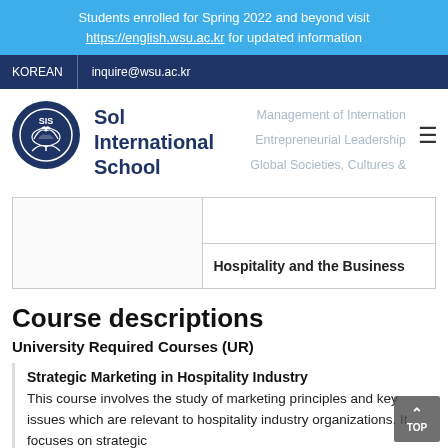Students enrolled for Spring 2022 and beyond visit https://english.wsu.ac.kr for updated information
KOREAN | inquire@wsu.ac.kr
[Figure (logo): Sol International School circular logo with SIS text and tree graphic, navy blue]
Sol International School
Management of Internation
Entrepreneurial Leadership
Global Societies, Cultures &
|  | Hospitality and the Business |
Course descriptions
University Required Courses (UR)
Strategic Marketing in Hospitality Industry
This course involves the study of marketing principles and key issues which are relevant to hospitality industry organizations. It focuses on strategic